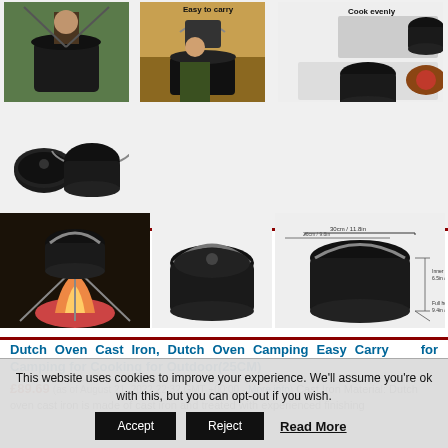[Figure (photo): Product image grid showing Dutch Oven cast iron pot from multiple angles: person cooking outdoors, pot with lid, easy to carry label, cook evenly label, pot hanging over campfire, dimension diagram]
Dutch Oven Cast Iron, Dutch Oven Camping Easy Carry   for Camping for Cooking for Outdoor(25CM)
£89.69  (as of August 21, 2022 22:32 GMT +00:00 - More info)  Cast Iron Material: Dutch oven cast iron is made of cast iron and treated with experienced finishing
This website uses cookies to improve your experience. We'll assume you're ok with this, but you can opt-out if you wish.
Accept  Reject  Read More